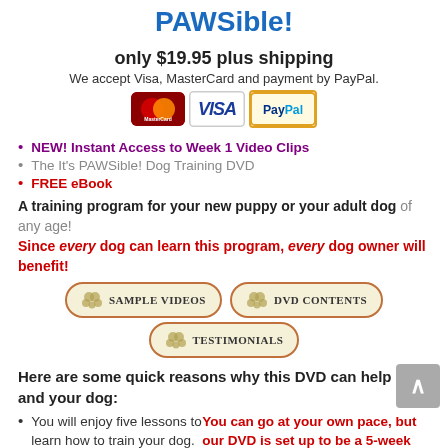PAWSible!
only $19.95 plus shipping
We accept Visa, MasterCard and payment by PayPal.
[Figure (illustration): Payment method icons: MasterCard, VISA, PayPal]
NEW! Instant Access to Week 1 Video Clips
The It's PAWSible! Dog Training DVD
FREE eBook
A training program for your new puppy or your adult dog of any age! Since every dog can learn this program, every dog owner will benefit!
[Figure (illustration): Navigation buttons: Sample Videos, DVD Contents, Testimonials]
Here are some quick reasons why this DVD can help you and your dog:
You will enjoy five lessons to learn how to train your dog. You can go at your own pace, but our DVD is set up to be a 5-week dog